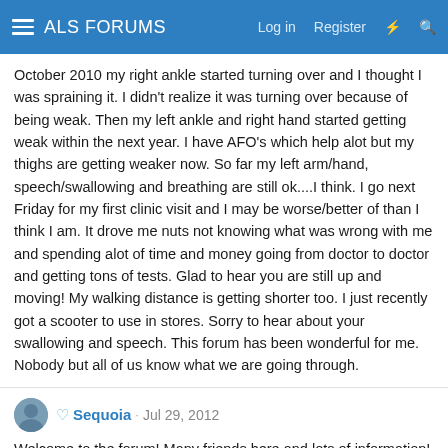ALS FORUMS  Log in  Register
October 2010 my right ankle started turning over and I thought I was spraining it. I didn't realize it was turning over because of being weak. Then my left ankle and right hand started getting weak within the next year. I have AFO's which help alot but my thighs are getting weaker now. So far my left arm/hand, speech/swallowing and breathing are still ok....I think. I go next Friday for my first clinic visit and I may be worse/better of than I think I am. It drove me nuts not knowing what was wrong with me and spending alot of time and money going from doctor to doctor and getting tons of tests. Glad to hear you are still up and moving! My walking distance is getting shorter too. I just recently got a scooter to use in stores. Sorry to hear about your swallowing and speech. This forum has been wonderful for me. Nobody but all of us know what we are going through.
Sequoia · Jul 29, 2012
Welcome to the forum! Many friends here and lots of information!